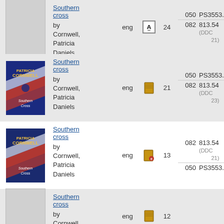| Cover | Title/Author | Lang | Format | Count | Classification |
| --- | --- | --- | --- | --- | --- |
| [cover] | Southern cross
by Cornwell, Patricia Daniels | eng | [A icon] | 24 | 050 PS3553.O6
082 813.54 (DDC 21) |
| [cover book] | Southern cross
by Cornwell, Patricia Daniels | eng | [book icon] | 21 | 050 PS3553.O6
082 813.54 (DDC 23) |
| [cover book] | Southern cross
by Cornwell, Patricia Daniels | eng | [book-e icon] | 13 | 082 813.54 (DDC 21)
050 PS3553.O6 |
| [cover blank] | Southern cross
by Cornwell, Patricia Daniels | eng | [book icon] | 12 |  |